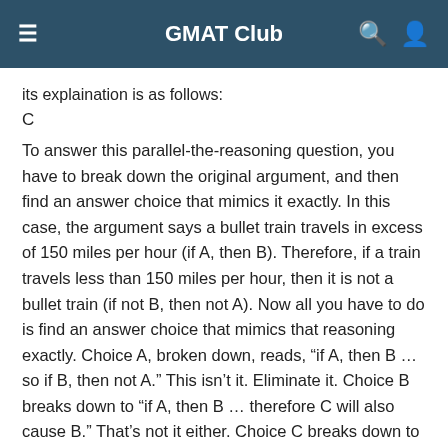GMAT Club
its explaination is as follows:
C
To answer this parallel-the-reasoning question, you have to break down the original argument, and then find an answer choice that mimics it exactly. In this case, the argument says a bullet train travels in excess of 150 miles per hour (if A, then B). Therefore, if a train travels less than 150 miles per hour, then it is not a bullet train (if not B, then not A). Now all you have to do is find an answer choice that mimics that reasoning exactly. Choice A, broken down, reads, “if A, then B … so if B, then not A.” This isn’t it. Eliminate it. Choice B breaks down to “if A, then B … therefore C will also cause B.” That’s not it either. Choice C breaks down to “if A, then B … therefore if not